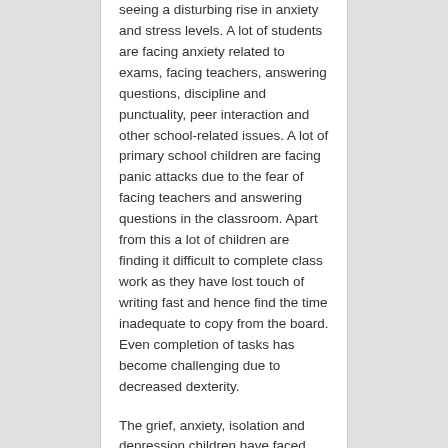seeing a disturbing rise in anxiety and stress levels. A lot of students are facing anxiety related to exams, facing teachers, answering questions, discipline and punctuality, peer interaction and other school-related issues. A lot of primary school children are facing panic attacks due to the fear of facing teachers and answering questions in the classroom. Apart from this a lot of children are finding it difficult to complete class work as they have lost touch of writing fast and hence find the time inadequate to copy from the board. Even completion of tasks has become challenging due to decreased dexterity.
The grief, anxiety, isolation and depression children have faced during the pandemic is also spilling over into classrooms and hallways, resulting in crying and disruptive behaviour in many